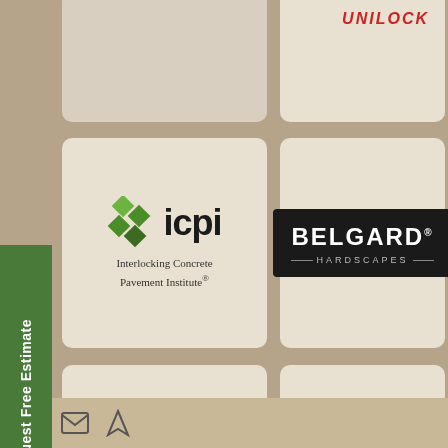[Figure (logo): ICPI - Interlocking Concrete Pavement Institute logo with green diamond icon and sans-serif text]
[Figure (logo): UNILOCK logo in red text at top right]
[Figure (logo): BELGARD HARDSCAPES logo in white text on black background with decorative lines]
[Figure (logo): Techo-Bloc Precious Stones logo in green oval with italic serif text, www.techo-bloc.com]
[Figure (logo): Rochester Concrete Products logo with orange R icon and orange/brown text]
Request Free Estimate
[Figure (infographic): Bottom strip with email and map icons]